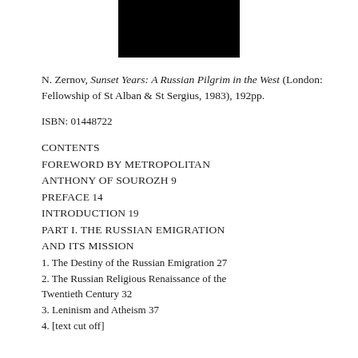[Figure (other): Black rectangle image at top center of page]
N. Zernov, Sunset Years: A Russian Pilgrim in the West (London: Fellowship of St Alban & St Sergius, 1983), 192pp.
ISBN: 01448722
CONTENTS
FOREWORD BY METROPOLITAN ANTHONY OF SOUROZH 9
PREFACE 14
INTRODUCTION 19
PART I. THE RUSSIAN EMIGRATION AND ITS MISSION
1. The Destiny of the Russian Emigration 27
2. The Russian Religious Renaissance of the Twentieth Century 32
3. Leninism and Atheism 37
4. [continues below]